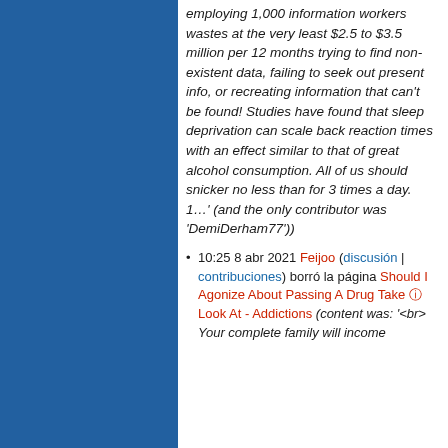employing 1,000 information workers wastes at the very least $2.5 to $3.5 million per 12 months trying to find non-existent data, failing to seek out present info, or recreating information that can't be found! Studies have found that sleep deprivation can scale back reaction times with an effect similar to that of great alcohol consumption. All of us should snicker no less than for 3 times a day. 1…' (and the only contributor was 'DemiDerham77'))
10:25 8 abr 2021 Feijoo (discusión | contribuciones) borró la página Should I Agonize About Passing A Drug Take ⓘ Look At - Addictions (content was: '<br> Your complete family will income